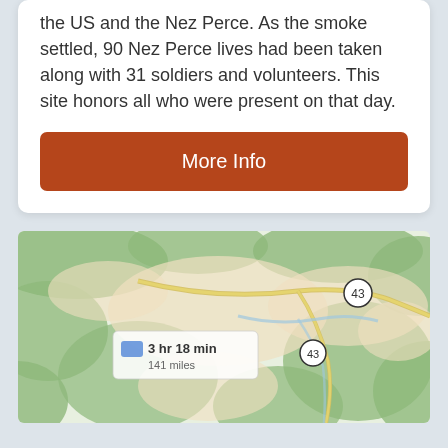the US and the Nez Perce. As the smoke settled, 90 Nez Perce lives had been taken along with 31 soldiers and volunteers. This site honors all who were present on that day.
[Figure (other): Orange 'More Info' button]
[Figure (map): Road map showing route 43 with terrain, green forested hills, tan valleys, a river, and a travel time overlay showing 3 hr 18 min / 141 miles.]